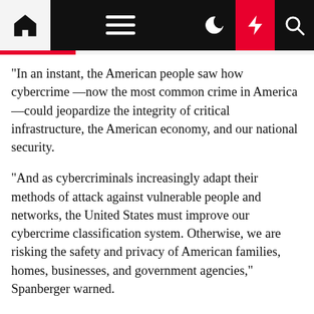Navigation bar with home, menu, dark mode, flash, and search icons
“In an instant, the American people saw how cybercrime —now the most common crime in America—could jeopardize the integrity of critical infrastructure, the American economy, and our national security.
“And as cybercriminals increasingly adapt their methods of attack against vulnerable people and networks, the United States must improve our cybercrime classification system. Otherwise, we are risking the safety and privacy of American families, homes, businesses, and government agencies,” Spanberger warned.
Cybersecurity experts and observers shared their insights and thoughts about the new law.